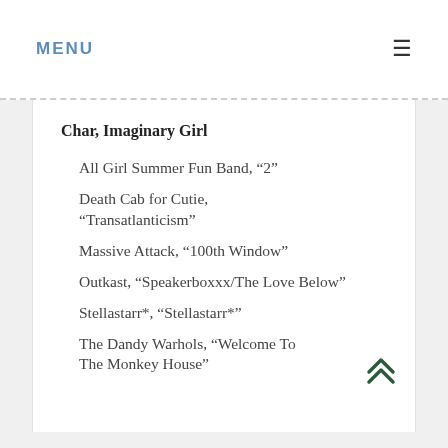MENU
Char, Imaginary Girl
All Girl Summer Fun Band, “2”
Death Cab for Cutie, “Transatlanticism”
Massive Attack, “100th Window”
Outkast, “Speakerboxxx/The Love Below”
Stellastarr*, “Stellastarr*”
The Dandy Warhols, “Welcome To The Monkey House”